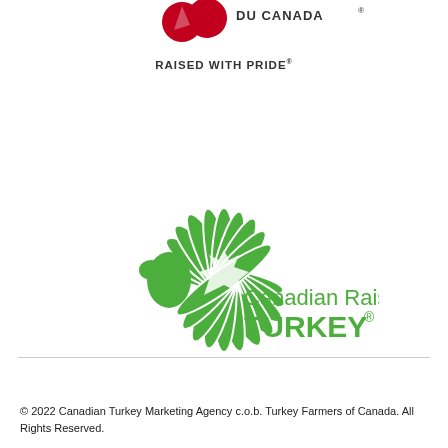[Figure (logo): Turkey Farmers of Canada / Éleveurs de dinde du Canada logo — two red maple leaf shapes and text DU CANADA with registered mark]
RAISED WITH PRIDE®
[Figure (logo): Canadian Raised Turkey logo — green fan of stylized turkey feathers forming a half-circle above maple leaf, with text 'Canadian Raised TURKEY®' in green]
© 2022 Canadian Turkey Marketing Agency c.o.b. Turkey Farmers of Canada. All Rights Reserved.